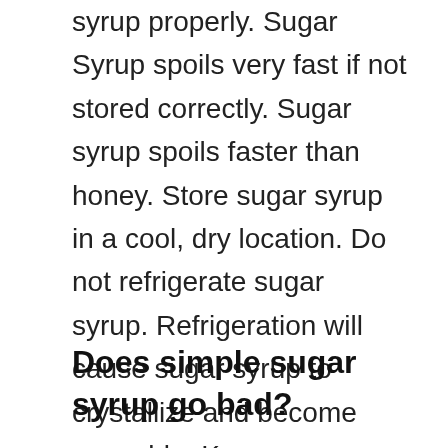syrup properly. Sugar Syrup spoils very fast if not stored correctly. Sugar syrup spoils faster than honey. Store sugar syrup in a cool, dry location. Do not refrigerate sugar syrup. Refrigeration will cause sugar syrup to crystallize and become unusable. Keep sugar syrup in a cool dark area.
Does simple sugar syrup go bad?